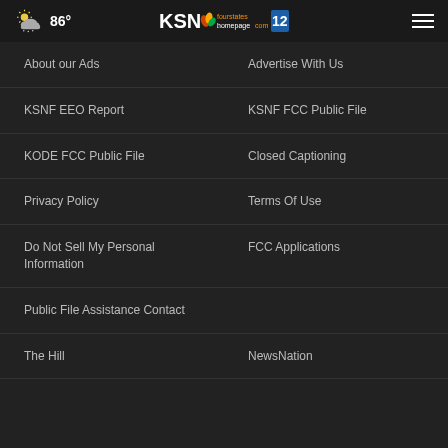86° KSN fourstates homepage.com 12
About our Ads
Advertise With Us
KSNF EEO Report
KSNF FCC Public File
KODE FCC Public File
Closed Captioning
Privacy Policy
Terms Of Use
Do Not Sell My Personal Information
FCC Applications
Public File Assistance Contact
The Hill
NewsNation